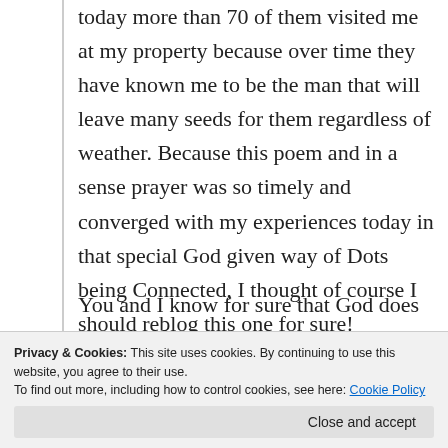today more than 70 of them visited me at my property because over time they have known me to be the man that will leave many seeds for them regardless of weather. Because this poem and in a sense prayer was so timely and converged with my experiences today in that special God given way of Dots being Connected, I thought of course I should reblog this one for sure!
You and I know for sure that God does work in mysterious ways and He is always offering to strengthen our faith if we are listening to Him with
and will also leave the link to Converging
Privacy & Cookies: This site uses cookies. By continuing to use this website, you agree to their use.
To find out more, including how to control cookies, see here: Cookie Policy